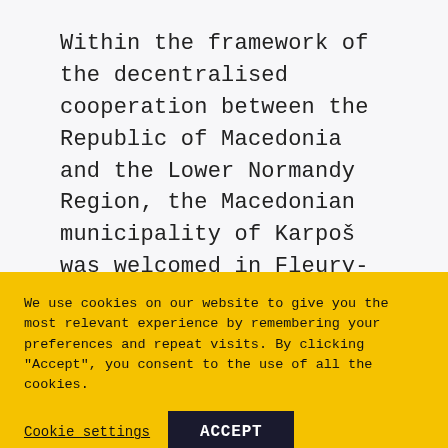Within the framework of the decentralised cooperation between the Republic of Macedonia and the Lower Normandy Region, the Macedonian municipality of Karpoš was welcomed in Fleury-sur-Orne, a commune of the Lower Normandy Region. The objective of the visit was...
We use cookies on our website to give you the most relevant experience by remembering your preferences and repeat visits. By clicking "Accept", you consent to the use of all the cookies.
Cookie settings
ACCEPT